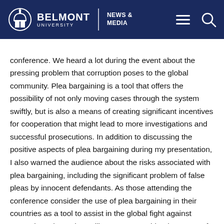BELMONT UNIVERSITY | NEWS & MEDIA
conference. We heard a lot during the event about the pressing problem that corruption poses to the global community. Plea bargaining is a tool that offers the possibility of not only moving cases through the system swiftly, but is also a means of creating significant incentives for cooperation that might lead to more investigations and successful prosecutions. In addition to discussing the positive aspects of plea bargaining during my presentation, I also warned the audience about the risks associated with plea bargaining, including the significant problem of false pleas by innocent defendants. As those attending the conference consider the use of plea bargaining in their countries as a tool to assist in the global fight against corruption, I hope they will pause to consider the power of the incentives inherent in the bargain, consider at what point offic...